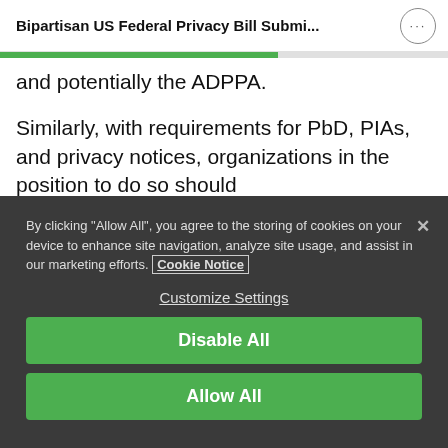Bipartisan US Federal Privacy Bill Submi...
and potentially the ADPPA.
Similarly, with requirements for PbD, PIAs, and privacy notices, organizations in the position to do so should
By clicking “Allow All”, you agree to the storing of cookies on your device to enhance site navigation, analyze site usage, and assist in our marketing efforts. Cookie Notice
Customize Settings
Disable All
Allow All